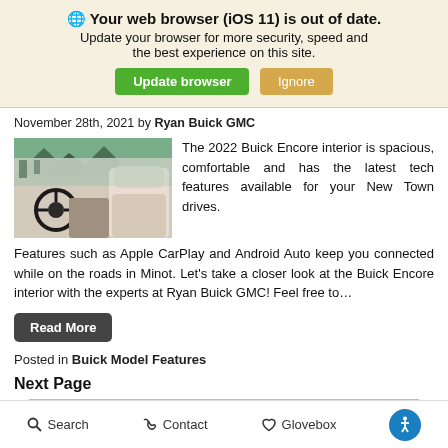🌐 Your web browser (iOS 11) is out of date. Update your browser for more security, speed and the best experience on this site. [Update browser] [Ignore]
November 28th, 2021 by Ryan Buick GMC
[Figure (photo): Car interior photo showing the 2022 Buick Encore dashboard and front seats]
The 2022 Buick Encore interior is spacious, comfortable and has the latest tech features available for your New Town drives. Features such as Apple CarPlay and Android Auto keep you connected while on the roads in Minot. Let's take a closer look at the Buick Encore interior with the experts at Ryan Buick GMC! Feel free to...
Read More
Posted in Buick Model Features
Next Page
Search  Contact  Glovebox  [Accessibility icon]